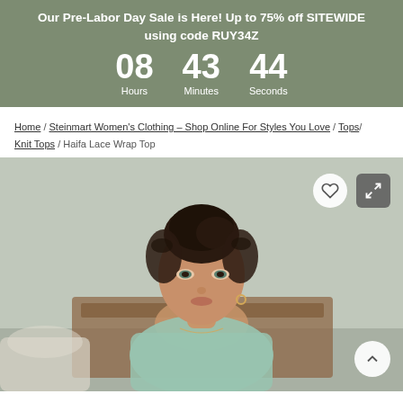Our Pre-Labor Day Sale is Here! Up to 75% off SITEWIDE using code RUY34Z — 08 Hours 43 Minutes 44 Seconds
Home / Steinmart Women's Clothing – Shop Online For Styles You Love / Tops / Knit Tops / Haifa Lace Wrap Top
[Figure (photo): Young woman with dark hair in an updo, wearing a mint/sage green wrap top, seated in front of a wooden headboard. Neutral background. Product photo for the Haifa Lace Wrap Top.]